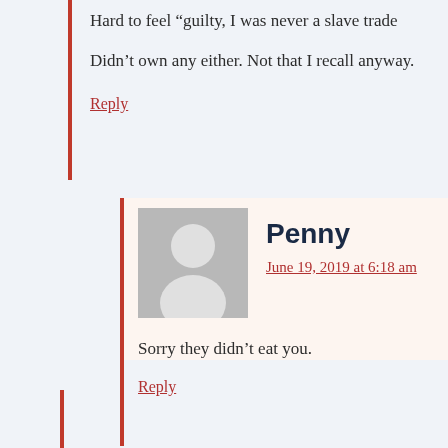Hard to feel “guilty, I was never a slave trade
Didn’t own any either. Not that I recall anyway.
Reply
Penny
June 19, 2019 at 6:18 am
Sorry they didn’t eat you.
Reply